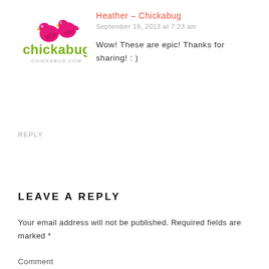[Figure (logo): Chickabug logo with two pink birds and green text 'chickabug' and 'CHICKABUG.COM']
Heather - Chickabug
September 19, 2013 at 7:23 am
Wow! These are epic! Thanks for sharing! : )
REPLY
LEAVE A REPLY
Your email address will not be published. Required fields are marked *
Comment